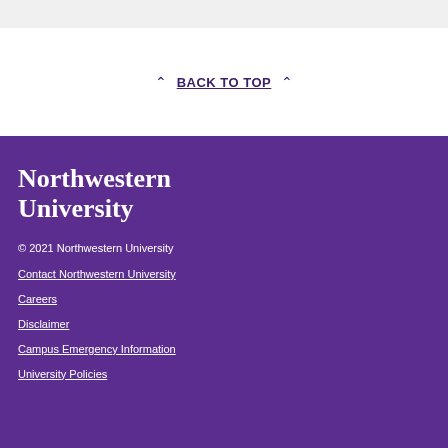BACK TO TOP
Northwestern University
© 2021 Northwestern University
Contact Northwestern University
Careers
Disclaimer
Campus Emergency Information
University Policies